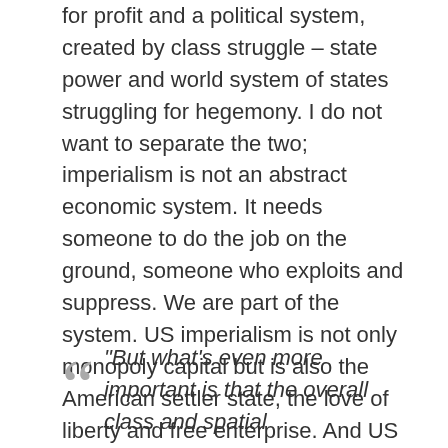for profit and a political system, created by class struggle – state power and world system of states struggling for hegemony. I do not want to separate the two; imperialism is not an abstract economic system. It needs someone to do the job on the ground, someone who exploits and suppress. We are part of the system. US imperialism is not only monopoly capital but is also the American settler state, the love of liberty and free enterprise. And US capitalism is different from Russian capitalism, Indian capitalism, or Chinese state capitalism, which has its specific history.
When I read this passage in your critique:
“But what’s even more important is that the overall class and spatial